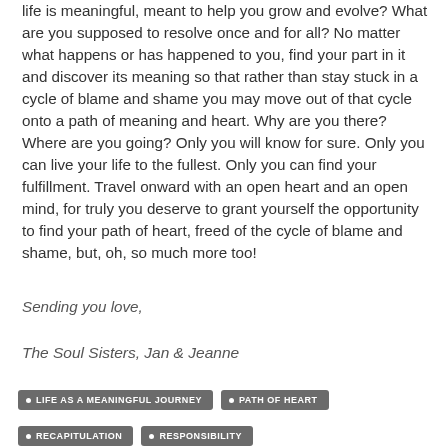life is meaningful, meant to help you grow and evolve? What are you supposed to resolve once and for all? No matter what happens or has happened to you, find your part in it and discover its meaning so that rather than stay stuck in a cycle of blame and shame you may move out of that cycle onto a path of meaning and heart. Why are you there? Where are you going? Only you will know for sure. Only you can live your life to the fullest. Only you can find your fulfillment. Travel onward with an open heart and an open mind, for truly you deserve to grant yourself the opportunity to find your path of heart, freed of the cycle of blame and shame, but, oh, so much more too!
Sending you love,
The Soul Sisters, Jan & Jeanne
LIFE AS A MEANINGFUL JOURNEY
PATH OF HEART
RECAPITULATION
RESPONSIBILITY